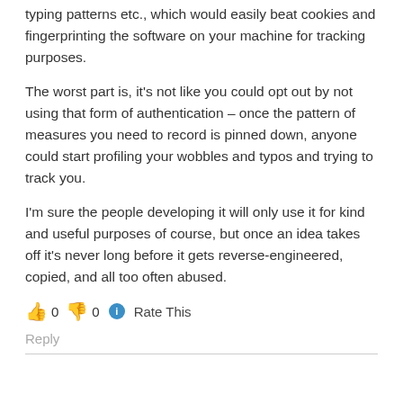typing patterns etc., which would easily beat cookies and fingerprinting the software on your machine for tracking purposes.
The worst part is, it's not like you could opt out by not using that form of authentication – once the pattern of measures you need to record is pinned down, anyone could start profiling your wobbles and typos and trying to track you.
I'm sure the people developing it will only use it for kind and useful purposes of course, but once an idea takes off it's never long before it gets reverse-engineered, copied, and all too often abused.
👍 0 👎 0 ℹ Rate This
Reply
italic bottom text